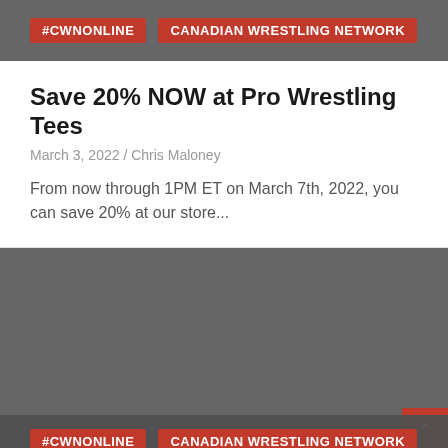#CWNONLINE  CANADIAN WRESTLING NETWORK
Save 20% NOW at Pro Wrestling Tees
March 3, 2022 / Chris Maloney
From now through 1PM ET on March 7th, 2022, you can save 20% at our store...
[Figure (screenshot): Gray placeholder image area for a second article card]
#CWNONLINE  CANADIAN WRESTLING NETWORK